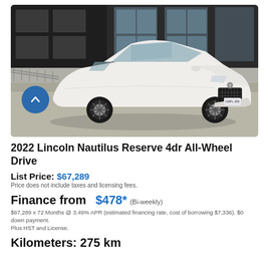[Figure (photo): White 2022 Lincoln Nautilus Reserve SUV parked in front of a dark modern building with large windows, photographed from a front-quarter angle on a paved lot.]
2022 Lincoln Nautilus Reserve 4dr All-Wheel Drive
List Price: $67,289
Price does not include taxes and licensing fees.
Finance from $478* (Bi-weekly)
$67,289 x 72 Months @ 3.49% APR (estimated financing rate, cost of borrowing $7,336). $0 down payment.
Plus HST and License.
Kilometers: 275 km